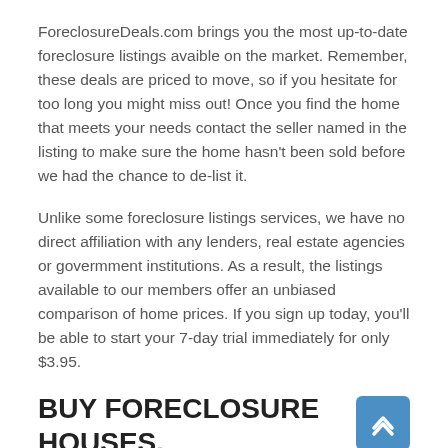ForeclosureDeals.com brings you the most up-to-date foreclosure listings avaible on the market. Remember, these deals are priced to move, so if you hesitate for too long you might miss out! Once you find the home that meets your needs contact the seller named in the listing to make sure the home hasn't been sold before we had the chance to de-list it.
Unlike some foreclosure listings services, we have no direct affiliation with any lenders, real estate agencies or govermment institutions. As a result, the listings available to our members offer an unbiased comparison of home prices. If you sign up today, you'll be able to start your 7-day trial immediately for only $3.95.
BUY FORECLOSURE HOUSES, APARTMENTS & CONDOS IN CARUTHERSVIL...